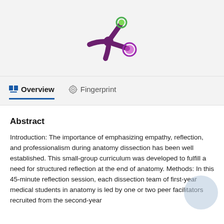[Figure (logo): Purple splat/asterisk logo with green and purple circular nodes — Elsevier Pure or similar academic portal logo]
Overview
Fingerprint
Abstract
Introduction: The importance of emphasizing empathy, reflection, and professionalism during anatomy dissection has been well established. This small-group curriculum was developed to fulfill a need for structured reflection at the end of anatomy. Methods: In this 45-minute reflection session, each dissection team of first-year medical students in anatomy is led by one or two peer facilitators recruited from the second-year